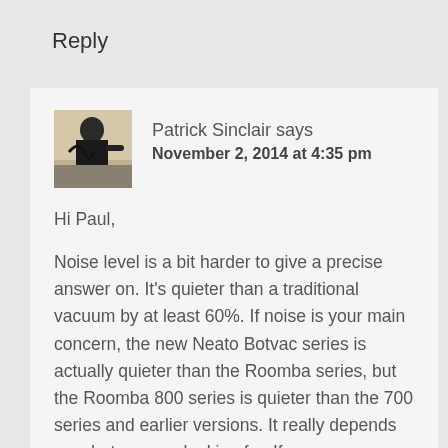Reply
[Figure (photo): Black and white photo of Patrick Sinclair, a person sitting at a typewriter or desk]
Patrick Sinclair says
November 2, 2014 at 4:35 pm
Hi Paul,
Noise level is a bit harder to give a precise answer on. It's quieter than a traditional vacuum by at least 60%. If noise is your main concern, the new Neato Botvac series is actually quieter than the Roomba series, but the Roomba 800 series is quieter than the 700 series and earlier versions. It really depends on what you are looking for. If you have a two-story home and the roomba/neato is on the first floor, you